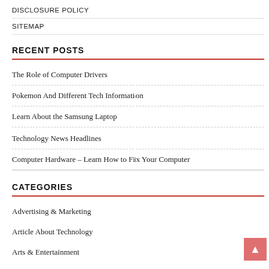DISCLOSURE POLICY
SITEMAP
RECENT POSTS
The Role of Computer Drivers
Pokemon And Different Tech Information
Learn About the Samsung Laptop
Technology News Headlines
Computer Hardware – Learn How to Fix Your Computer
CATEGORIES
Advertising & Marketing
Article About Technology
Arts & Entertainment